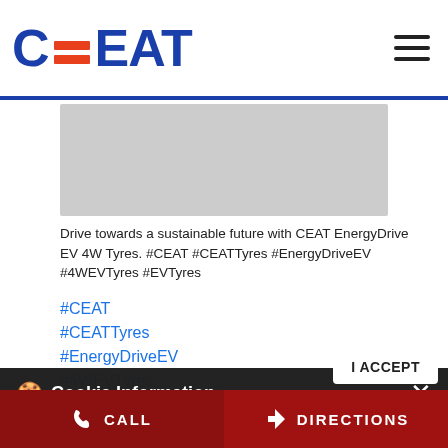CEAT
[Figure (photo): Gray image placeholder area for CEAT EnergyDrive EV product]
Drive towards a sustainable future with CEAT EnergyDrive EV 4W Tyres. #CEAT #CEATTyres #EnergyDriveEV #4WEVTyres #EVTyres
#CEAT
#CEATTyres
#EnergyDriveEV
#4WEVTyres
Cookie Information
On our website, we use services (including from third-party providers) that help us to improve our online presence (optimization of website) and to display content that is geared to their interests. We need your consent before being able to use these services.
CALL  DIRECTIONS